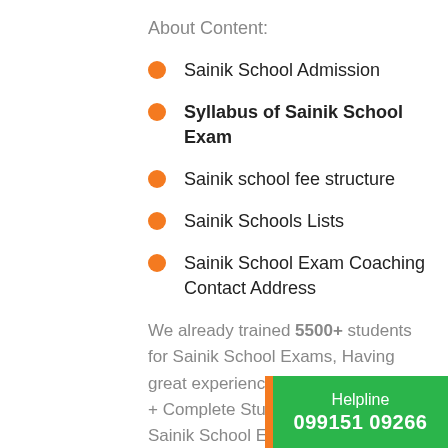About Content:
Sainik School Admission
Syllabus of Sainik School Exam
Sainik school fee structure
Sainik Schools Lists
Sainik School Exam Coaching Contact Address
We already trained 5500+ students for Sainik School Exams, Having great experience Faculty members + Complete Study material for Sainik School Examination + we do provide hostel facility for our students & parents.
Helpline 099151 09266